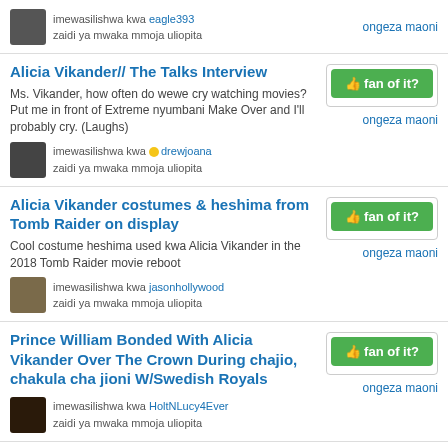imewasilishwa kwa eagle393
zaidi ya mwaka mmoja uliopita
ongeza maoni
Alicia Vikander// The Talks Interview
Ms. Vikander, how often do wewe cry watching movies? Put me in front of Extreme nyumbani Make Over and I'll probably cry. (Laughs)
imewasilishwa kwa drewjoana
zaidi ya mwaka mmoja uliopita
ongeza maoni
Alicia Vikander costumes & heshima from Tomb Raider on display
Cool costume heshima used kwa Alicia Vikander in the 2018 Tomb Raider movie reboot
imewasilishwa kwa jasonhollywood
zaidi ya mwaka mmoja uliopita
ongeza maoni
Prince William Bonded With Alicia Vikander Over The Crown During chajio, chakula cha jioni W/Swedish Royals
imewasilishwa kwa HoltNLucy4Ever
zaidi ya mwaka mmoja uliopita
ongeza maoni
Alicia Vikander at Cinephomaride